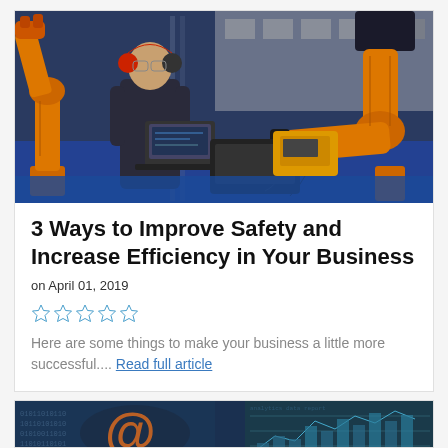[Figure (photo): A technician in dark coveralls and red ear protection working on a laptop surrounded by orange industrial robot arms in a manufacturing facility with control panels in the background]
3 Ways to Improve Safety and Increase Efficiency in Your Business
on April 01, 2019
[Figure (other): Five star rating icons (empty/outline stars in blue/cyan color)]
Here are some things to make your business a little more successful.... Read full article
[Figure (photo): A digital/technology themed image featuring an @ symbol and data visualization charts, suggesting email or digital communication and analytics]